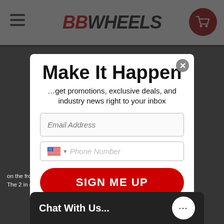BB WHEELS
Make It Happen
…get promotions, exclusive deals, and industry news right to your inbox
Email Address
Phone Number
SIGN ME UP
By clicking SIGN ME UP, you agree to receive marketing text messages and emails from BB Wheels at the number provided, including messages sent by autodialer. Consent is not a condition of any purchase. Message and data rates may apply. Message frequency varies. Reply HELP for help or STOP to cancel. We process your data as stated in our Privacy Policy
on the fron… finishing t… The 2 in c…
Chat With Us...